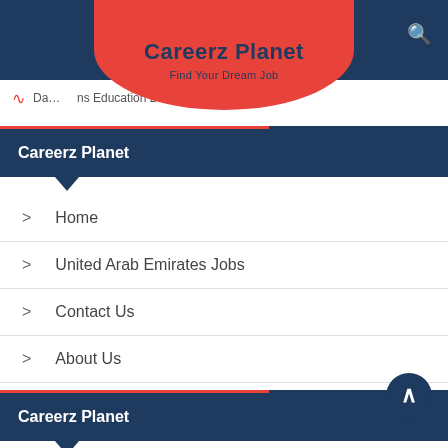[Figure (logo): Careerz Planet logo with red rounded bubble shape on dark navy header. Title reads 'Careerz Planet' in bold dark blue, subtitle 'Find Your Dream Job' in dark blue below.]
Da...ns Education 2022
Careerz Planet
Home
United Arab Emirates Jobs
Contact Us
About Us
Post Job
Careerz Planet